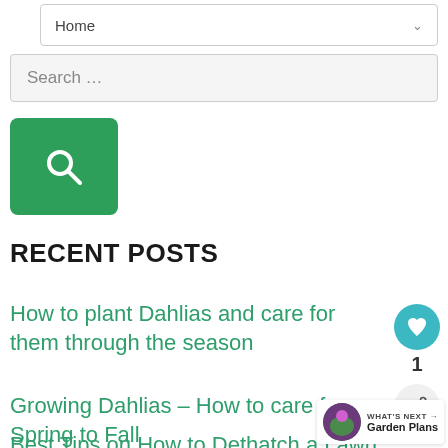Home
Search …
[Figure (screenshot): Green search button with magnifying glass icon]
RECENT POSTS
How to plant Dahlias and care for them through the season
Growing Dahlias – How to care from Spring to Fall
Best Tips on How to Dethatch a Lawn